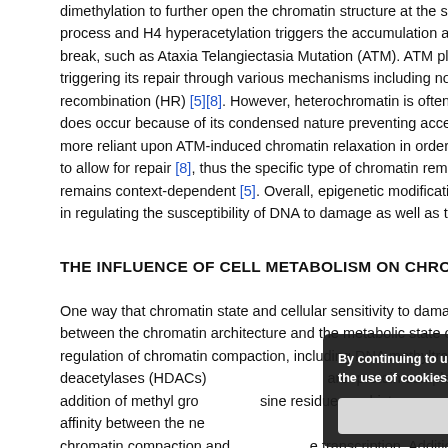dimethylation to further open the chromatin structure at the site process and H4 hyperacetylation triggers the accumulation and c break, such as Ataxia Telangiectasia Mutation (ATM). ATM plays triggering its repair through various mechanisms including non-home recombination (HR) [5][8]. However, heterochromatin is often seen does occur because of its condensed nature preventing access to m more reliant upon ATM-induced chromatin relaxation in order to effe to allow for repair [8], thus the specific type of chromatin remodeli remains context-dependent [5]. Overall, epigenetic modifications to in regulating the susceptibility of DNA to damage as well as the abili
THE INFLUENCE OF CELL METABOLISM ON CHROM
One way that chromatin state and cellular sensitivity to damage can between the chromatin architecture and the metabolic state of a regulation of chromatin compaction, including DNA methyltra deacetylases (HDACs) are protein complexe addition of methyl gro sine residues on histo affinity between the ne bone of DNA and the chromatin compaction and transcription. Additiona responsible for maintaining a more open structure, further allowing t
By continuing to use the site, you agree to the use of cookies. more information
Accept